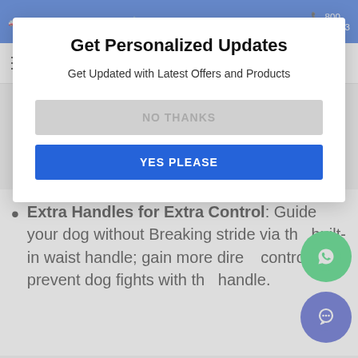Free Shipping on Orders  |  30 Day  OOPS  |  800-559-9863
[Figure (screenshot): Navigation bar with hamburger menu, search icon, and cart icon]
En...  yo  ne  d by  yo
[Figure (infographic): Modal popup: 'Get Personalized Updates' with subtitle 'Get Updated with Latest Offers and Products', NO THANKS button, and YES PLEASE button]
Extra Handles for Extra Control: Guide your dog without Breaking stride via the built-in waist handle; gain more direct control and prevent dog fights with the handle.